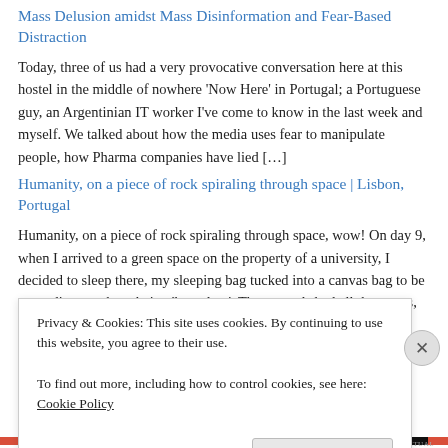Mass Delusion amidst Mass Disinformation and Fear-Based Distraction
Today, three of us had a very provocative conversation here at this hostel in the middle of nowhere 'Now Here' in Portugal; a Portuguese guy, an Argentinian IT worker I've come to know in the last week and myself. We talked about how the media uses fear to manipulate people, how Pharma companies have lied […]
Humanity, on a piece of rock spiraling through space | Lisbon, Portugal
Humanity, on a piece of rock spiraling through space, wow! On day 9, when I arrived to a green space on the property of a university, I decided to sleep there, my sleeping bag tucked into a canvas bag to be more discrete about being 'homeless'. The grounds had all these cats, really funny. Upon […]
Urban Street Art, Graffiti & Design Lisbon, Portugal, July 2022
Privacy & Cookies: This site uses cookies. By continuing to use this website, you agree to their use.
To find out more, including how to control cookies, see here: Cookie Policy